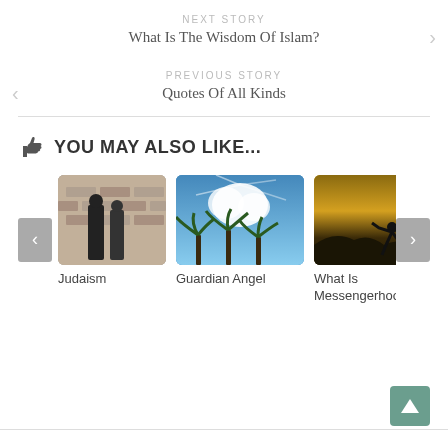NEXT STORY
What Is The Wisdom Of Islam?
PREVIOUS STORY
Quotes Of All Kinds
YOU MAY ALSO LIKE...
[Figure (photo): Three thumbnail images in a carousel: (1) Two people in black standing by a stone wall - Judaism; (2) Palm trees with dramatic clouds and blue sky - Guardian Angel; (3) Silhouette of person against sunset sky - What Is Messengerhood]
Judaism
Guardian Angel
What Is Messengerhood